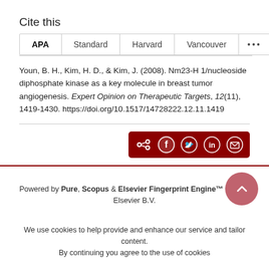Cite this
APA  Standard  Harvard  Vancouver  ...
Youn, B. H., Kim, H. D., & Kim, J. (2008). Nm23-H 1/nucleoside diphosphate kinase as a key molecule in breast tumor angiogenesis. Expert Opinion on Therapeutic Targets, 12(11), 1419-1430. https://doi.org/10.1517/14728222.12.11.1419
[Figure (other): Share bar with social media icons: share, Facebook, Twitter, LinkedIn, email]
Powered by Pure, Scopus & Elsevier Fingerprint Engine™ © 2022 Elsevier B.V.
We use cookies to help provide and enhance our service and tailor content. By continuing you agree to the use of cookies